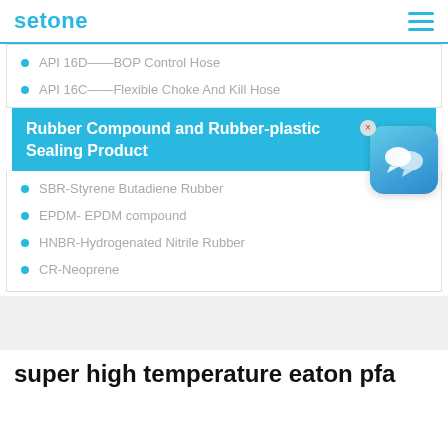setone
API 16D——BOP Control Hose
API 16C——Flexible Choke And Kill Hose
Rubber Compound and Rubber-plastic Sealing Product
SBR-Styrene Butadiene Rubber
EPDM- EPDM compound
HNBR-Hydrogenated Nitrile Rubber
CR-Neoprene
super high temperature eaton pfa